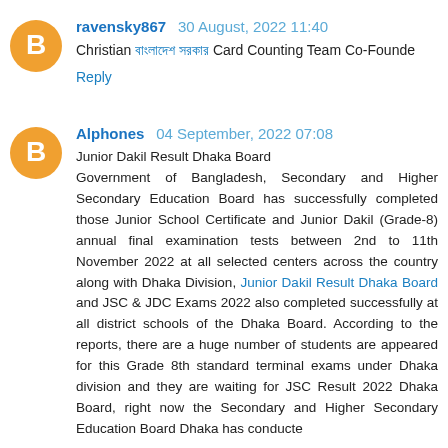ravensky867 30 August, 2022 11:40
Christian [Bengali text] Card Counting Team Co-Founde
Reply
Alphones 04 September, 2022 07:08
Junior Dakil Result Dhaka Board Government of Bangladesh, Secondary and Higher Secondary Education Board has successfully completed those Junior School Certificate and Junior Dakil (Grade-8) annual final examination tests between 2nd to 11th November 2022 at all selected centers across the country along with Dhaka Division, Junior Dakil Result Dhaka Board and JSC & JDC Exams 2022 also completed successfully at all district schools of the Dhaka Board. According to the reports, there are a huge number of students are appeared for this Grade 8th standard terminal exams under Dhaka division and they are waiting for JSC Result 2022 Dhaka Board, right now the Secondary and Higher Secondary Education Board Dhaka has conducte